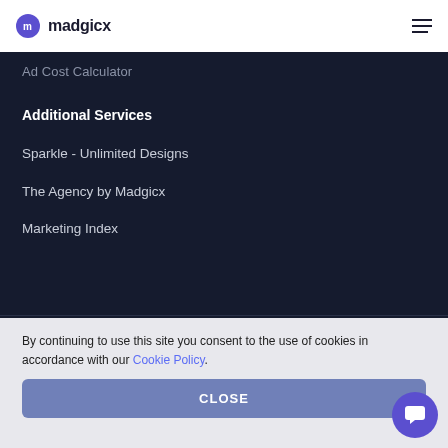madgicx
Ad Cost Calculator
Additional Services
Sparkle - Unlimited Designs
The Agency by Madgicx
Marketing Index
By continuing to use this site you consent to the use of cookies in accordance with our Cookie Policy.
CLOSE